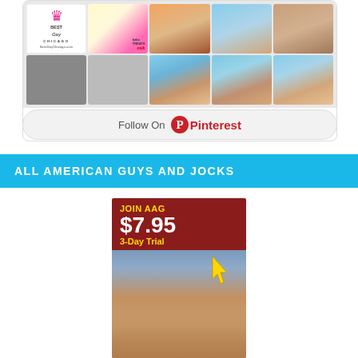[Figure (screenshot): Pinterest widget showing a grid of pinned images including a Best Gay Chicago logo, a layered cake, animals, beach/fitness photos, and men. Below the grid is a 'Follow On Pinterest' button.]
ALL AMERICAN GUYS AND JOCKS
[Figure (photo): An advertisement banner for 'Join AAG' (All American Guys) showing '$7.95 3-Day Trial' text in yellow/white on a dark red background, with a photo of a young muscular shirtless man and a yellow arrow cursor graphic.]